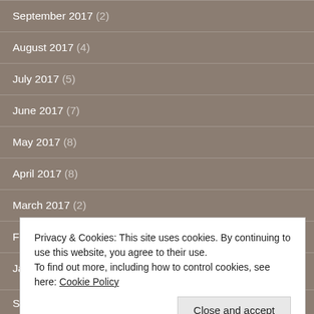September 2017 (2)
August 2017 (4)
July 2017 (5)
June 2017 (7)
May 2017 (8)
April 2017 (8)
March 2017 (2)
February 2017 (5)
January 2017 (8)
Privacy & Cookies: This site uses cookies. By continuing to use this website, you agree to their use. To find out more, including how to control cookies, see here: Cookie Policy
September 2016 (4)